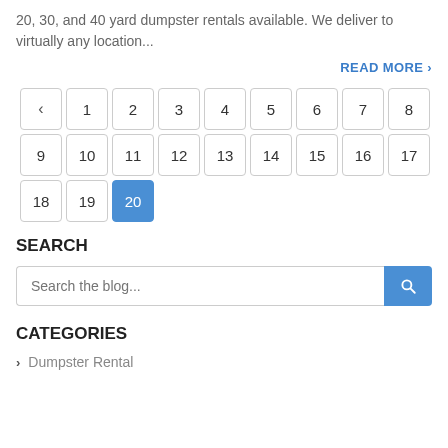20, 30, and 40 yard dumpster rentals available. We deliver to virtually any location...
READ MORE >
[Figure (other): Pagination widget with back arrow and page numbers 1-20, with page 20 highlighted in blue]
SEARCH
Search the blog...
CATEGORIES
> Dumpster Rental